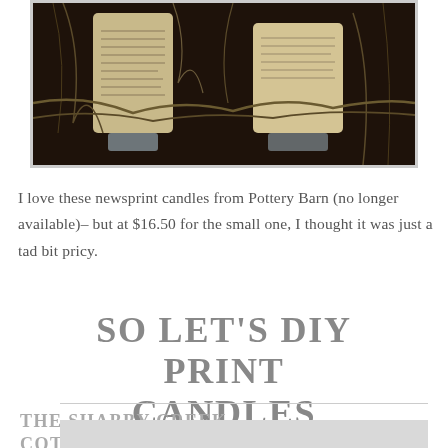[Figure (photo): Photo of decorative newsprint candles with rustic/botanical styling on glass stands, dark background]
I love these newsprint candles from Pottery Barn (no longer available)– but at $16.50 for the small one, I thought it was just a tad bit pricy.
SO LET'S DIY PRINT CANDLES
THE SHABBY CREEK COTTAGE TV
[Figure (photo): Bottom portion of another photo visible at the bottom of the page, light grey background]